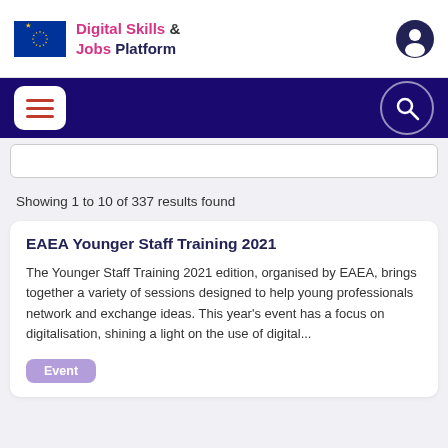Digital Skills & Jobs Platform
Showing 1 to 10 of 337 results found
EAEA Younger Staff Training 2021
The Younger Staff Training 2021 edition, organised by EAEA, brings together a variety of sessions designed to help young professionals network and exchange ideas. This year's event has a focus on digitalisation, shining a light on the use of digital...
Event